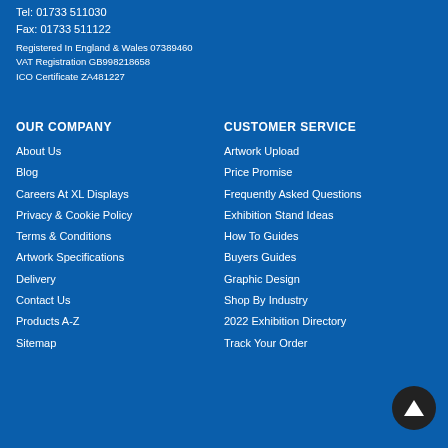Tel: 01733 511030
Fax: 01733 511122
Registered In England & Wales 07389460
VAT Registration GB998218658
ICO Certificate ZA481227
OUR COMPANY
About Us
Blog
Careers At XL Displays
Privacy & Cookie Policy
Terms & Conditions
Artwork Specifications
Delivery
Contact Us
Products A-Z
Sitemap
CUSTOMER SERVICE
Artwork Upload
Price Promise
Frequently Asked Questions
Exhibition Stand Ideas
How To Guides
Buyers Guides
Graphic Design
Shop By Industry
2022 Exhibition Directory
Track Your Order